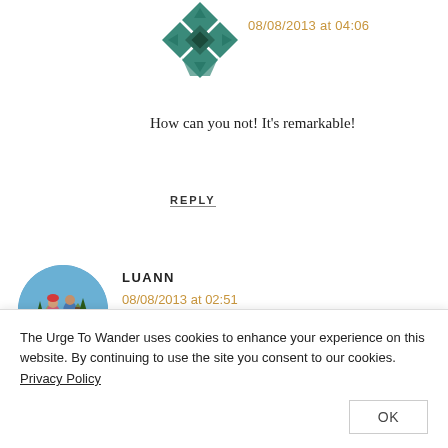[Figure (illustration): Geometric quilt-pattern avatar icon in teal/dark green colors]
08/08/2013 at 04:06
How can you not! It’s remarkable!
REPLY
[Figure (photo): Circular avatar photo of two people hiking on a rocky overlook]
LUANN
08/08/2013 at 02:51
The Urge To Wander uses cookies to enhance your experience on this website. By continuing to use the site you consent to our cookies. Privacy Policy
OK